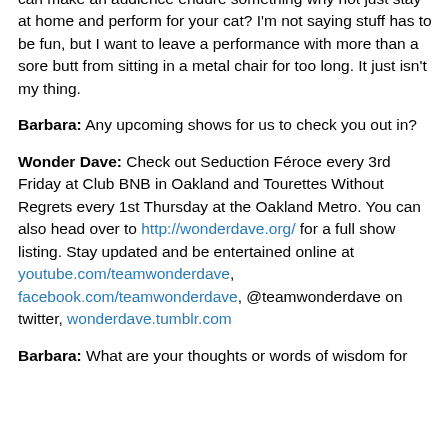can make an audience endure something why not just stay at home and perform for your cat? I'm not saying stuff has to be fun, but I want to leave a performance with more than a sore butt from sitting in a metal chair for too long. It just isn't my thing.
Barbara: Any upcoming shows for us to check you out in?
Wonder Dave: Check out Seduction Féroce every 3rd Friday at Club BNB in Oakland and Tourettes Without Regrets every 1st Thursday at the Oakland Metro. You can also head over to http://wonderdave.org/ for a full show listing. Stay updated and be entertained online at youtube.com/teamwonderdave, facebook.com/teamwonderdave, @teamwonderdave on twitter, wonderdave.tumblr.com
Barbara: What are your thoughts or words of wisdom for